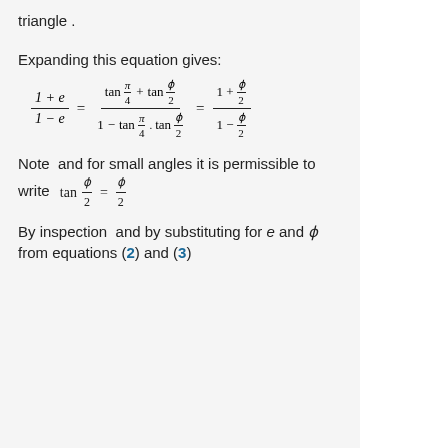triangle .
Expanding this equation gives:
Note  and for small angles it is permissible to write
By inspection  and by substituting for e and φ from equations (2) and (3)